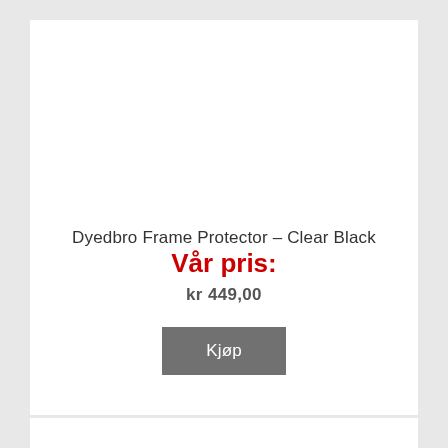Dyedbro Frame Protector – Clear Black
Vår pris:
kr 449,00
Kjøp